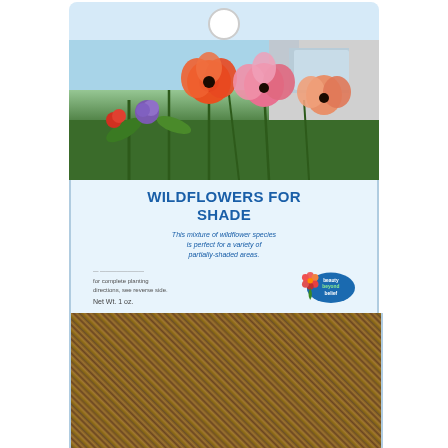[Figure (photo): Product photo of a seed packet labeled 'Wildflowers for Shade' by Beauty Beyond Belief. The packet shows colorful wildflowers on the front with a blue/white label area and a lower section filled with mixed seeds.]
Features :
HIGH QUALITY SEEDS and EXPERT